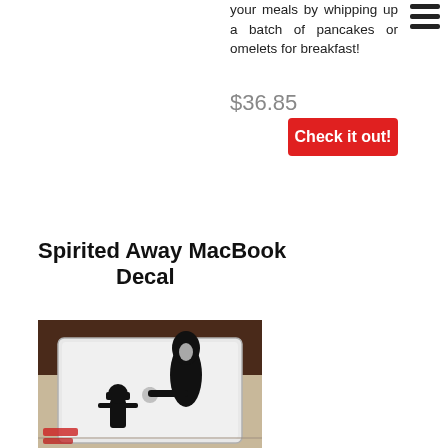your meals by whipping up a batch of pancakes or omelets for breakfast!
$36.85
Check it out!
Spirited Away MacBook Decal
[Figure (photo): A MacBook laptop with a Spirited Away vinyl decal showing a silhouette of a girl and a tall dark spirit figure with the Apple logo in between them, placed on a desk.]